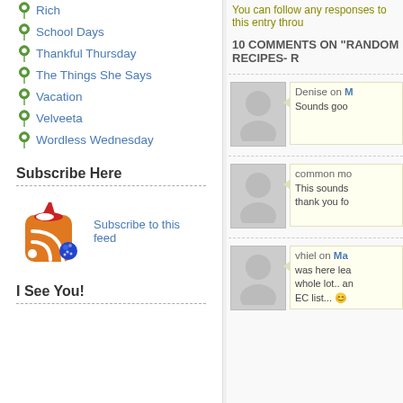Rich
School Days
Thankful Thursday
The Things She Says
Vacation
Velveeta
Wordless Wednesday
Subscribe Here
[Figure (illustration): RSS feed icon with Santa hat and blue ornament decorations]
Subscribe to this feed
I See You!
You can follow any responses to this entry throu
10 COMMENTS ON "RANDOM RECIPES- R
Denise on M
Sounds goo
common mo
This sounds
thank you fo
vhiel on Ma
was here lea
whole lot.. an
EC list...